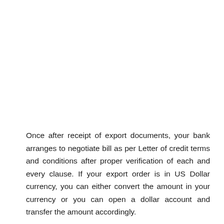Once after receipt of export documents, your bank arranges to negotiate bill as per Letter of credit terms and conditions after proper verification of each and every clause. If your export order is in US Dollar currency, you can either convert the amount in your currency or you can open a dollar account and transfer the amount accordingly.